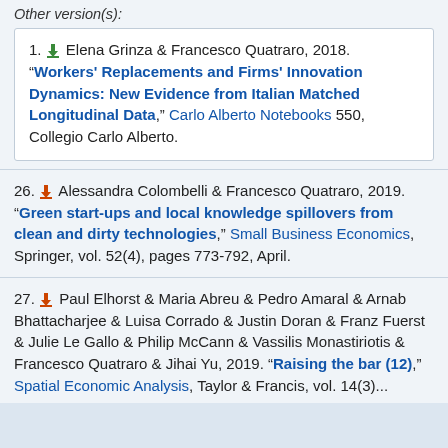Other version(s):
1. Elena Grinza & Francesco Quatraro, 2018. "Workers' Replacements and Firms' Innovation Dynamics: New Evidence from Italian Matched Longitudinal Data," Carlo Alberto Notebooks 550, Collegio Carlo Alberto.
26. Alessandra Colombelli & Francesco Quatraro, 2019. "Green start-ups and local knowledge spillovers from clean and dirty technologies," Small Business Economics, Springer, vol. 52(4), pages 773-792, April.
27. Paul Elhorst & Maria Abreu & Pedro Amaral & Arnab Bhattacharjee & Luisa Corrado & Justin Doran & Franz Fuerst & Julie Le Gallo & Philip McCann & Vassilis Monastiriotis & Francesco Quatraro & Jihai Yu, 2019. "Raising the bar (12)," Spatial Economic Analysis, Taylor & Francis, vol. 14(3)...